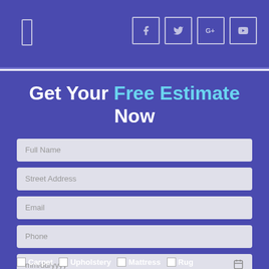Navigation header with menu icon and social media icons (Facebook, Twitter, Google+, YouTube)
Get Your Free Estimate Now
Full Name
Street Address
Email
Phone
mm/dd/yyyy
Carpet
Upholstery
Mattress
Rug